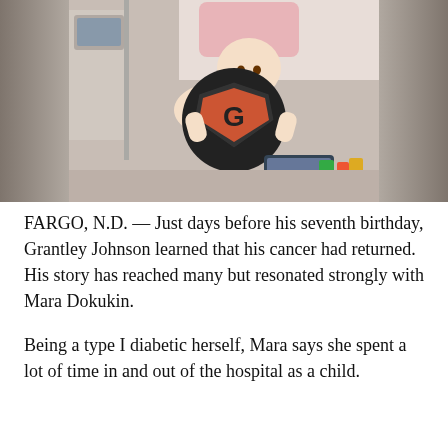[Figure (photo): A smiling young bald child lying in a hospital bed holding a large dark circular sign with a Superman-style shield logo featuring the letter G in orange on black. Medical equipment is visible in the background. The image has a blurred/darkened left and right edge.]
FARGO, N.D. — Just days before his seventh birthday, Grantley Johnson learned that his cancer had returned. His story has reached many but resonated strongly with Mara Dokukin.
Being a type I diabetic herself, Mara says she spent a lot of time in and out of the hospital as a child.